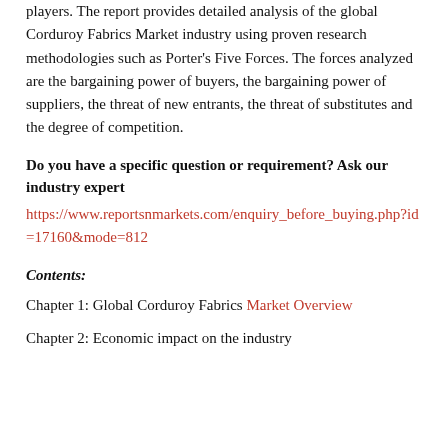players. The report provides detailed analysis of the global Corduroy Fabrics Market industry using proven research methodologies such as Porter's Five Forces. The forces analyzed are the bargaining power of buyers, the bargaining power of suppliers, the threat of new entrants, the threat of substitutes and the degree of competition.
Do you have a specific question or requirement? Ask our industry expert
https://www.reportsnmarkets.com/enquiry_before_buying.php?id=17160&mode=812
Contents:
Chapter 1: Global Corduroy Fabrics Market Overview
Chapter 2: Economic impact on the industry